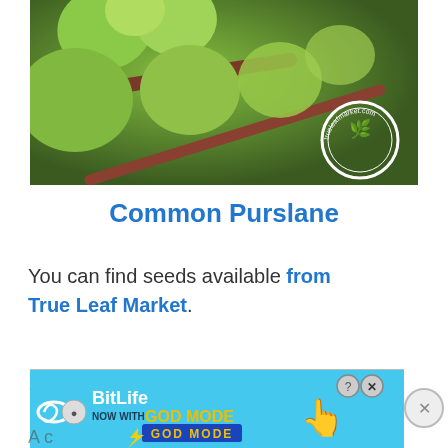[Figure (photo): Close-up photo of Common Purslane plant with round green leaves and reddish-purple stems, with trueleafmarket.com circular logo watermark in bottom right corner]
Common Purslane
You can find seeds available from True Leaf Market.
Golden
[Figure (screenshot): BitLife advertisement banner: 'BitLife NOW WITH GOD MODE' with spiral logo, yellow and blue styling, question mark and X dismiss buttons]